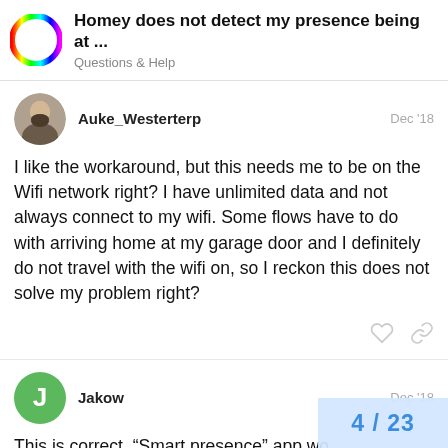Homey does not detect my presence being at ... | Questions & Help
Auke_Westerterp  Dec '18
I like the workaround, but this needs me to be on the Wifi network right? I have unlimited data and not always connect to my wifi. Some flows have to do with arriving home at my garage door and I definitely do not travel with the wifi on, so I reckon this does not solve my problem right?
Jakow  Dec '18
This is correct, “Smart presence” app wo connects to wifi and then “you are home
4 / 23